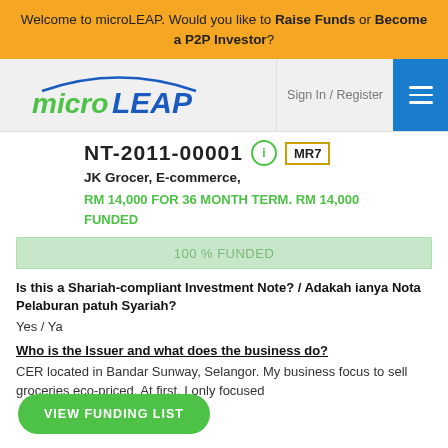Welcome to microLEAP. Would you like to Raise Funds or Become a P2P Investor?
[Figure (logo): microLEAP logo with green 'micro' and blue 'LEAP' text, stylized arc above]
Sign In / Register
NT-2011-00001
MR7
JK Grocer, E-commerce,
RM 14,000 FOR 36 MONTH TERM. RM 14,000 FUNDED
100 % FUNDED
Is this a Shariah-compliant Investment Note? / Adakah ianya Nota Pelaburan patuh Syariah?
Yes / Ya
Who is the Issuer and what does the business do?
CER located in Bandar Sunway, Selangor. My business focus to sell groceries eco-priced. At first, I only focused
VIEW FUNDING LIST